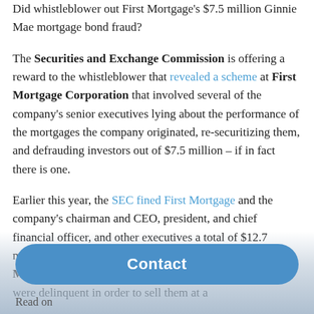Did whistleblower out First Mortgage's $7.5 million Ginnie Mae mortgage bond fraud? The Securities and Exchange Commission is offering a reward to the whistleblower that revealed a scheme at First Mortgage Corporation that involved several of the company's senior executives lying about the performance of the mortgages the company originated, re-securitizing them, and defrauding investors out of $7.5 million – if in fact there is one.
Earlier this year, the SEC fined First Mortgage and the company's chairman and CEO, president, and chief financial officer, and other executives a total of $12.7 million for pulling current, performing loans out of Ginnie Mae mortgage bonds by falsely claiming the mortgages were delinquent in order to sell them at a
Contact
Read on